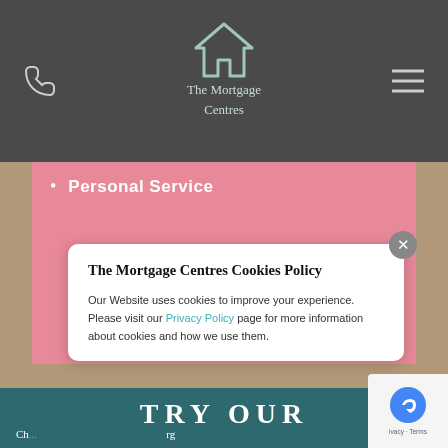The Mortgage Centres
Personal Service
[Figure (screenshot): Background photo of a room/house interior behind pink overlay]
TRY OUR
The Mortgage Centres Cookies Policy
Our Website uses cookies to improve your experience. Please visit our Privacy Policy page for more information about cookies and how we use them.